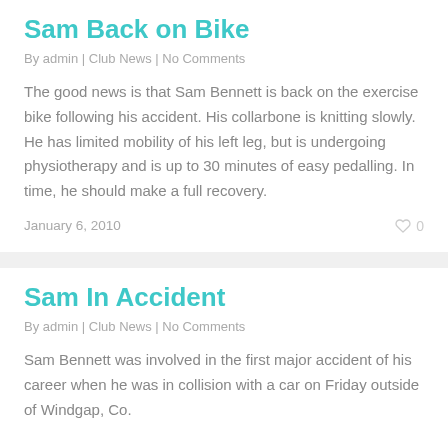Sam Back on Bike
By admin | Club News | No Comments
The good news is that Sam Bennett is back on the exercise bike following his accident. His collarbone is knitting slowly. He has limited mobility of his left leg, but is undergoing physiotherapy and is up to 30 minutes of easy pedalling. In time, he should make a full recovery.
January 6, 2010
Sam In Accident
By admin | Club News | No Comments
Sam Bennett was involved in the first major accident of his career when he was in collision with a car on Friday outside of Windgap, Co.